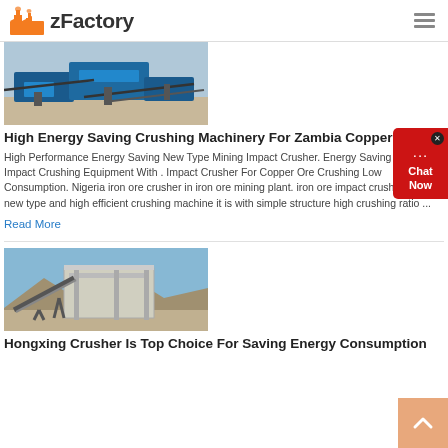zFactory
[Figure (photo): Industrial crushing machinery on a construction/mining site, blue equipment visible]
High Energy Saving Crushing Machinery For Zambia Copper Ore
High Performance Energy Saving New Type Mining Impact Crusher. Energy Saving Cobble Impact Crushing Equipment With . Impact Crusher For Copper Ore Crushing Low Consumption. Nigeria iron ore crusher in iron ore mining plant. iron ore impact crusher is a new type and high efficient crushing machine it is with simple structure high crushing ratio ...
Read More
[Figure (photo): Large industrial crusher or conveyor structure at a mining/quarry site against blue sky]
Hongxing Crusher Is Top Choice For Saving Energy Consumption